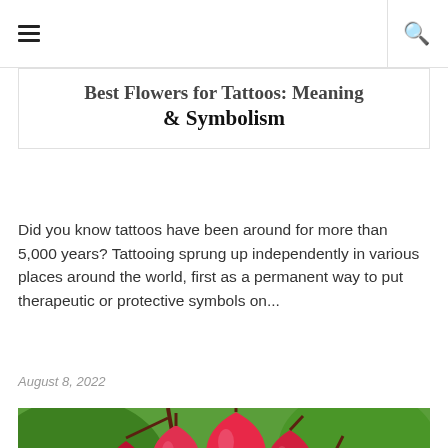☰  🔍
Best Flowers for Tattoos: Meaning & Symbolism
Did you know tattoos have been around for more than 5,000 years? Tattooing sprung up independently in various places around the world, first as a permanent way to put therapeutic or protective symbols on...
August 8, 2022
[Figure (photo): Close-up photo of bleeding heart flowers (Lamprocapnos spectabilis) showing red heart-shaped blooms hanging from a stem against a green background.]